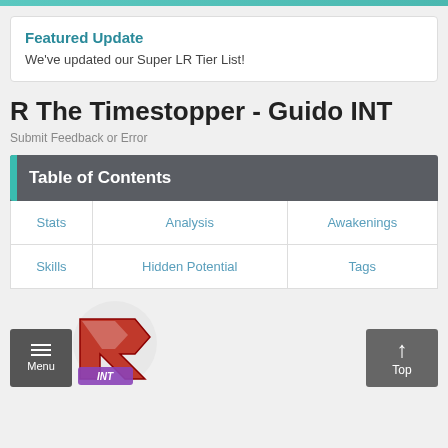Featured Update
We've updated our Super LR Tier List!
R The Timestopper - Guido INT
Submit Feedback or Error
Table of Contents
Stats
Analysis
Awakenings
Skills
Hidden Potential
Tags
[Figure (illustration): Character icon for R The Timestopper - Guido INT with Menu and Top navigation buttons]
Menu | Top